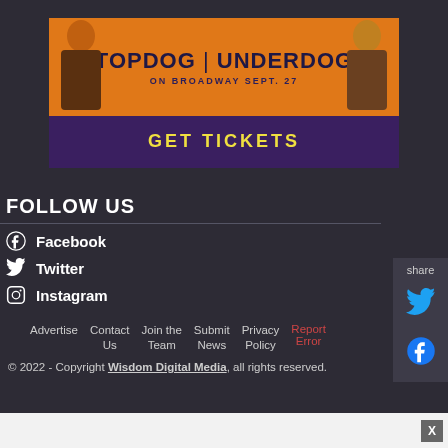[Figure (photo): Advertisement banner for 'Topdog / Underdog on Broadway Sept. 27 - Get Tickets' with two illustrated figures on orange and purple background]
FOLLOW US
Facebook
Twitter
Instagram
Advertise | Contact Us | Join the Team | Submit News | Privacy Policy | Report Error
© 2022 - Copyright Wisdom Digital Media, all rights reserved.